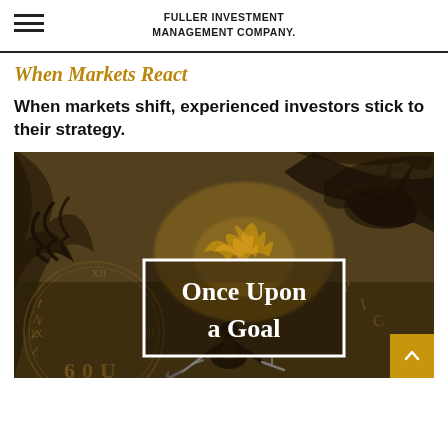FULLER INVESTMENT MANAGEMENT COMPANY.
When Markets React
When markets shift, experienced investors stick to their strategy.
[Figure (illustration): Fantasy warrior fighting a dragon illustration with text overlay reading 'Once Upon a Goal' inside a white border rectangle. Background shows a warrior with weapons facing a dragon amid flames, with clock/time imagery in the background. Sepia/golden-brown color tone.]